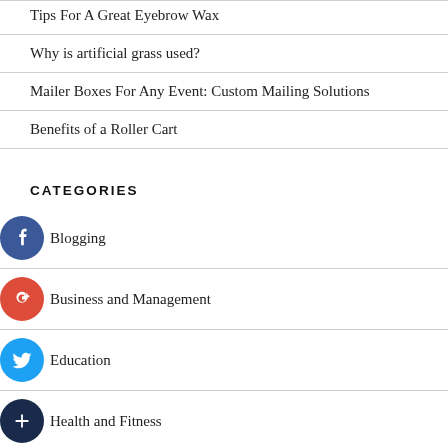Tips For A Great Eyebrow Wax
Why is artificial grass used?
Mailer Boxes For Any Event: Custom Mailing Solutions
Benefits of a Roller Cart
CATEGORIES
Blogging
Business and Management
Education
Health and Fitness
Home and Garden